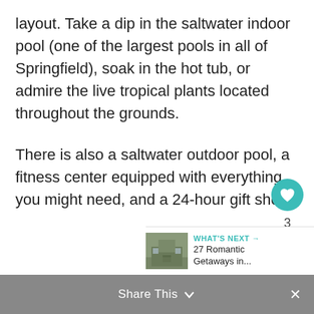layout. Take a dip in the saltwater indoor pool (one of the largest pools in all of Springfield), soak in the hot tub, or admire the live tropical plants located throughout the grounds.
There is also a saltwater outdoor pool, a fitness center equipped with everything you might need, and a 24-hour gift shop.
[Figure (infographic): Floating action buttons: heart/like button in teal circle, count of 3, share button in white circle]
[Figure (infographic): What's Next banner with thumbnail image of a building and text: WHAT'S NEXT → 27 Romantic Getaways in...]
Share This ∨
✕